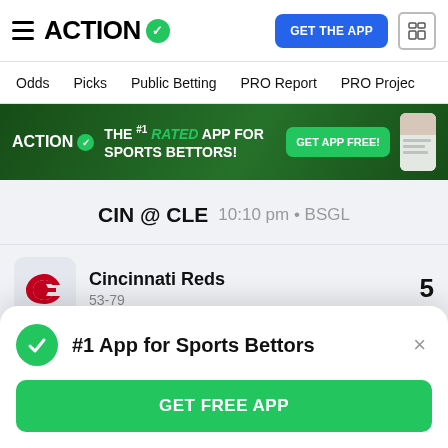ACTION (logo with checkmark)
GET THE APP
Odds  Picks  Public Betting  PRO Report  PRO Project
[Figure (infographic): Dark green banner ad: ACTION logo with checkmark, text 'THE #1 RATED APP FOR SPORTS BETTORS!', green button 'GET APP FREE!' and phone image on right]
CIN @ CLE  10:10 pm • BSGL
Cincinnati Reds
53-79
5
#1 App for Sports Bettors
GET FREE APP